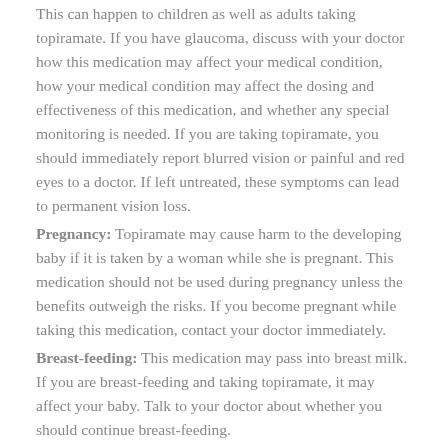This can happen to children as well as adults taking topiramate. If you have glaucoma, discuss with your doctor how this medication may affect your medical condition, how your medical condition may affect the dosing and effectiveness of this medication, and whether any special monitoring is needed. If you are taking topiramate, you should immediately report blurred vision or painful and red eyes to a doctor. If left untreated, these symptoms can lead to permanent vision loss.
Pregnancy: Topiramate may cause harm to the developing baby if it is taken by a woman while she is pregnant. This medication should not be used during pregnancy unless the benefits outweigh the risks. If you become pregnant while taking this medication, contact your doctor immediately.
Breast-feeding: This medication may pass into breast milk. If you are breast-feeding and taking topiramate, it may affect your baby. Talk to your doctor about whether you should continue breast-feeding.